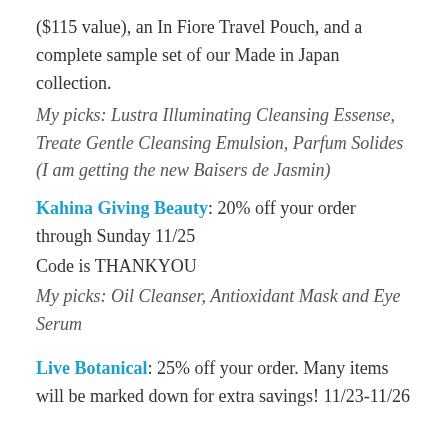($115 value), an In Fiore Travel Pouch, and a complete sample set of our Made in Japan collection.
My picks: Lustra Illuminating Cleansing Essense, Treate Gentle Cleansing Emulsion, Parfum Solides (I am getting the new Baisers de Jasmin)
Kahina Giving Beauty: 20% off your order through Sunday 11/25
Code is THANKYOU
My picks: Oil Cleanser, Antioxidant Mask and Eye Serum
Live Botanical: 25% off your order. Many items will be marked down for extra savings! 11/23-11/26